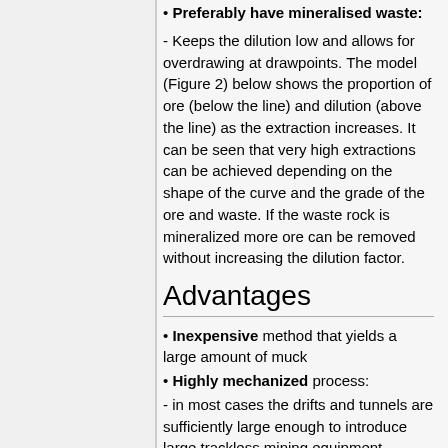• Preferably have mineralised waste:
- Keeps the dilution low and allows for overdrawing at drawpoints. The model (Figure 2) below shows the proportion of ore (below the line) and dilution (above the line) as the extraction increases. It can be seen that very high extractions can be achieved depending on the shape of the curve and the grade of the ore and waste. If the waste rock is mineralized more ore can be removed without increasing the dilution factor.
Advantages
• Inexpensive method that yields a large amount of muck
• Highly mechanized process:
- in most cases the drifts and tunnels are sufficiently large enough to introduce large trackless mining equipment
• High efficiency:
- with the repetitive nature of this mining method you can standardize all the mining